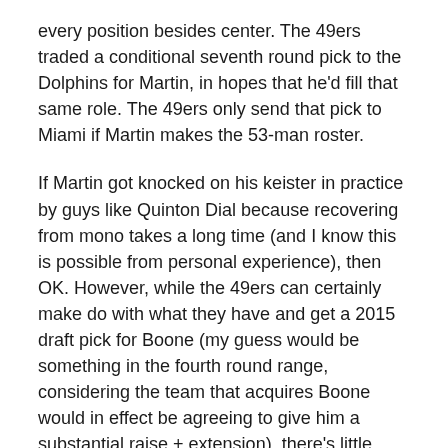every position besides center. The 49ers traded a conditional seventh round pick to the Dolphins for Martin, in hopes that he'd fill that same role. The 49ers only send that pick to Miami if Martin makes the 53-man roster.
If Martin got knocked on his keister in practice by guys like Quinton Dial because recovering from mono takes a long time (and I know this is possible from personal experience), then OK. However, while the 49ers can certainly make do with what they have and get a 2015 draft pick for Boone (my guess would be something in the fourth round range, considering the team that acquires Boone would in effect be agreeing to give him a substantial raise + extension), there's little doubt the 2014 San Francisco 49ers would be weakened.
The 49ers have a decision to make, based on their answers to the following questions.